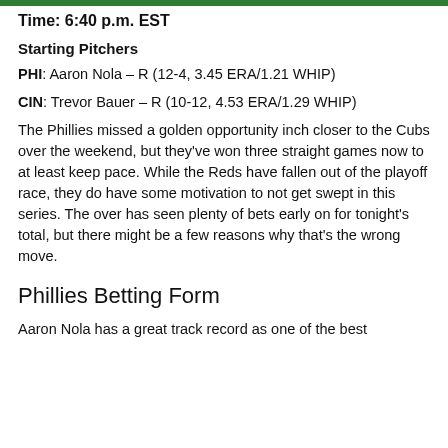Time: 6:40 p.m. EST
Starting Pitchers
PHI: Aaron Nola – R (12-4, 3.45 ERA/1.21 WHIP)
CIN: Trevor Bauer – R (10-12, 4.53 ERA/1.29 WHIP)
The Phillies missed a golden opportunity inch closer to the Cubs over the weekend, but they've won three straight games now to at least keep pace. While the Reds have fallen out of the playoff race, they do have some motivation to not get swept in this series. The over has seen plenty of bets early on for tonight's total, but there might be a few reasons why that's the wrong move.
Phillies Betting Form
Aaron Nola has a great track record as one of the best...